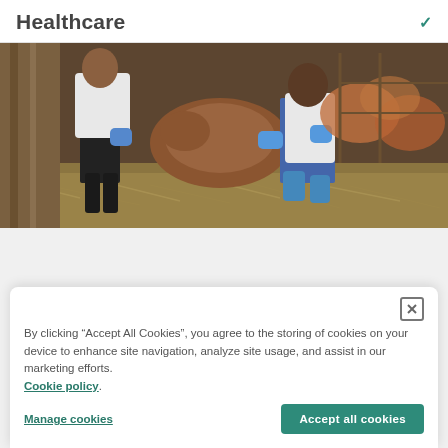Healthcare
[Figure (photo): Two people in white lab coats and blue gloves kneeling on hay in a barn, examining or treating a brown animal (likely a calf or goat). Background shows more animals in stalls.]
By clicking “Accept All Cookies”, you agree to the storing of cookies on your device to enhance site navigation, analyze site usage, and assist in our marketing efforts. Cookie policy.
Manage cookies
Accept all cookies